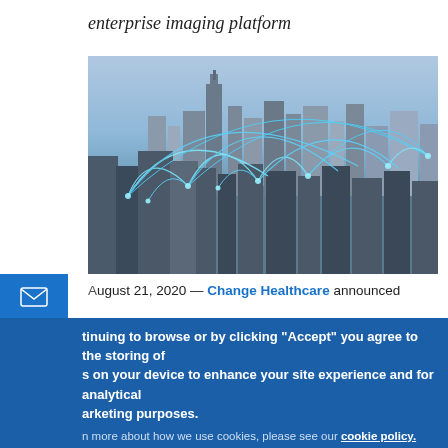enterprise imaging platform
[Figure (photo): Aerial view of a city skyline (Chicago) with glowing blue digital network connection arcs overlaid, representing enterprise connectivity.]
August 21, 2020 — Change Healthcare announced
continuing to browse or by clicking "Accept" you agree to the storing of cookies on your device to enhance your site experience and for analytical and marketing purposes.
To learn more about how we use cookies, please see our cookie policy.
I agree    No, thanks